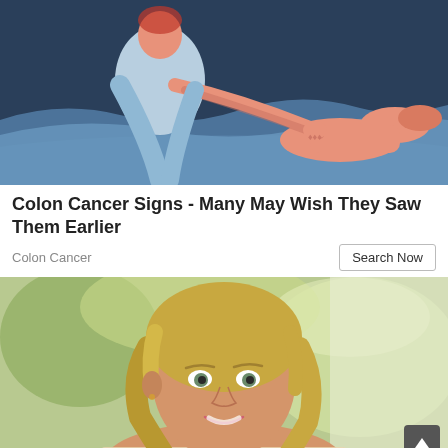[Figure (illustration): Illustrated image showing a medical examination scene: a patient lying on a table with a healthcare provider (in light blue/white clothing) examining or treating the patient's leg. The background is dark blue, with muted blue and peach/orange tones.]
Colon Cancer Signs - Many May Wish They Saw Them Earlier
Colon Cancer
[Figure (photo): Photograph of a smiling middle-aged blonde woman with shoulder-length wavy hair, looking upward slightly, against a blurred green outdoor background. She appears to be in good health and is wearing a light-colored top.]